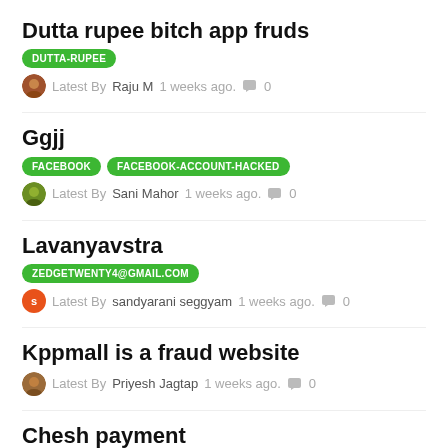Dutta rupee bitch app fruds
DUTTA-RUPEE | Latest By Raju M 1 weeks ago. 0
Ggjj
FACEBOOK | FACEBOOK-ACCOUNT-HACKED | Latest By Sani Mahor 1 weeks ago. 0
Lavanyavstra
ZEDGETWENTY4@GMAIL.COM | Latest By sandyarani seggyam 1 weeks ago. 0
Kppmall is a fraud website
Latest By Priyesh Jagtap 1 weeks ago. 0
Chesh payment
Latest By Op Yadav 1 weeks ago. 0